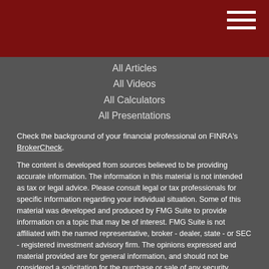Navigation menu header with hamburger icon
All Articles
All Videos
All Calculators
All Presentations
Check the background of your financial professional on FINRA's BrokerCheck.
The content is developed from sources believed to be providing accurate information. The information in this material is not intended as tax or legal advice. Please consult legal or tax professionals for specific information regarding your individual situation. Some of this material was developed and produced by FMG Suite to provide information on a topic that may be of interest. FMG Suite is not affiliated with the named representative, broker - dealer, state - or SEC - registered investment advisory firm. The opinions expressed and material provided are for general information, and should not be considered a solicitation for the purchase or sale of any security.
We take protecting your data and privacy very seriously. As of January 1, 2020 the California Consumer Privacy Act (CCPA) suggests the following link as an extra measure to safeguard your data: Do not sell my personal information.
Copyright 2022 FMG Suite.
Securities and investment advisory services offered through Royal Alliance Associates, Inc., Member FINRA/SIPC and a registered investment advisor. Estrin Asset Management is not affiliated with Royal Alliance Associates or registered as a